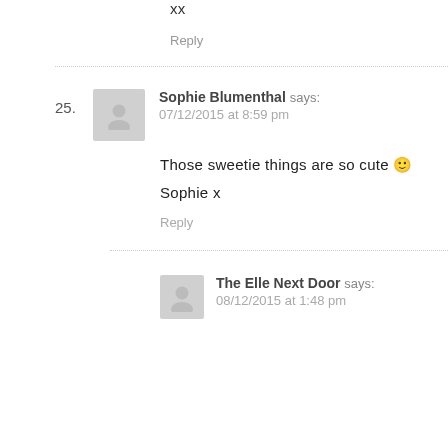xx
Reply
25. Sophie Blumenthal says: 07/12/2015 at 8:59 pm
Those sweetie things are so cute 🙂
Sophie x
Reply
The Elle Next Door says: 08/12/2015 at 1:48 pm